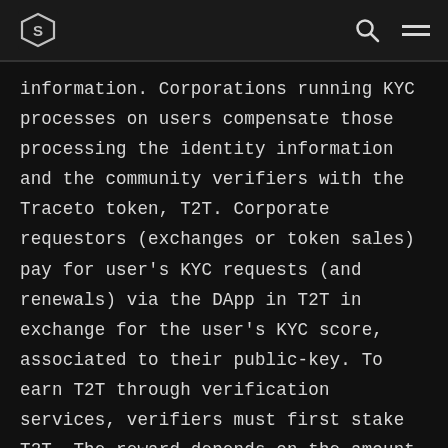Traceto logo, search icon, menu icon
information. Corporations running KYC processes on users compensate those processing the identity information and the community verifiers with the Traceto token, T2T. Corporate requestors (exchanges or token sales) pay for user's KYC requests (and renewals) via the DApp in T2T in exchange for the user's KYC score, associated to their public-key. To earn T2T through verification services, verifiers must first stake T2T. The reward depends on the amount of T2T staked, as well as time held and verifications performed. There is a limit to the amount of T2T a verifier can earn for any specific transaction and this limit can be modified upon a vote from the Verifiers,